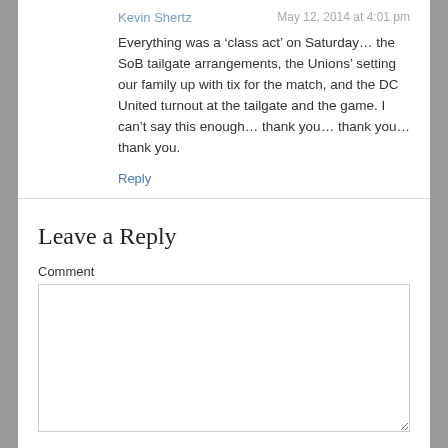Kevin Shertz
May 12, 2014 at 4:01 pm
Everything was a ‘class act’ on Saturday… the SoB tailgate arrangements, the Unions’ setting our family up with tix for the match, and the DC United turnout at the tailgate and the game. I can’t say this enough… thank you… thank you… thank you.
Reply
Leave a Reply
Comment
Your Name *